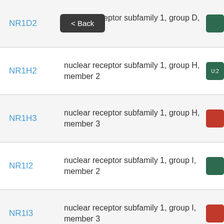NR1D2 — nuclear receptor subfamily 1, group D, member 2
NR1H2 — nuclear receptor subfamily 1, group H, member 2
NR1H3 — nuclear receptor subfamily 1, group H, member 3
NR1I2 — nuclear receptor subfamily 1, group I, member 2
NR1I3 — nuclear receptor subfamily 1, group I, member 3
NR2F2 — nuclear receptor subfamily 2 group F member 2